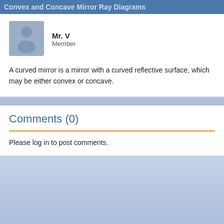Convex and Concave Mirror Ray Diagrams
[Figure (illustration): User avatar silhouette placeholder image, grey background, showing a generic person outline]
Mr. V
Member
A curved mirror is a mirror with a curved reflective surface, which may be either convex or concave.
Comments (0)
Please log in to post comments.
© 2015 VideoClass    Report a Problem    Contact    F.A.Q.    Priva…